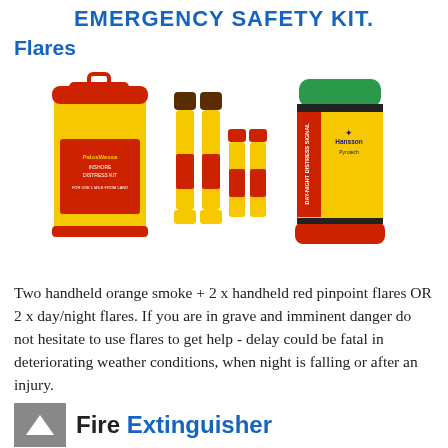EMERGENCY SAFETY KIT.
Flares
[Figure (photo): Two flare kits side by side: on the left a yellow PalosWessa Inshore Distress Kit canister with red label, accompanied by two tall yellow/brown flares and two shorter red flares; on the right a Hansson Pyrotech day-night distress signal canister with green top and red bottom, with yellow and red labeling.]
Two handheld orange smoke + 2 x handheld red pinpoint flares OR 2 x day/night flares. If you are in grave and imminent danger do not hesitate to use flares to get help - delay could be fatal in deteriorating weather conditions, when night is falling or after an injury.
Fire Extinguisher